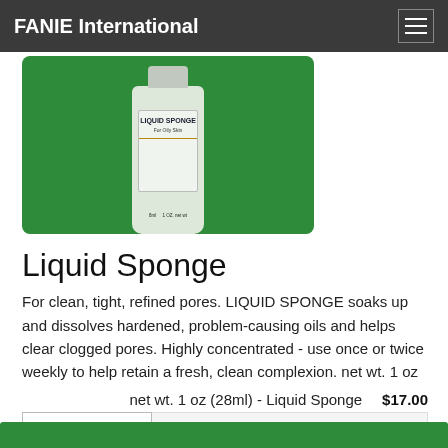FANIE International
[Figure (photo): Product photo of Liquid Sponge bottle (1 oz) on a green background. The white cylindrical bottle has a label reading 'LIQUID SPONGE For Oily Skin' with a gold accent line, and text at the bottom reading '8ml 1 OZ. net wt'.]
Liquid Sponge
For clean, tight, refined pores. LIQUID SPONGE soaks up and dissolves hardened, problem-causing oils and helps clear clogged pores. Highly concentrated - use once or twice weekly to help retain a fresh, clean complexion. net wt. 1 oz
net wt. 1 oz (28ml) - Liquid Sponge    $17.00
1
Add to cart  Closed for Business